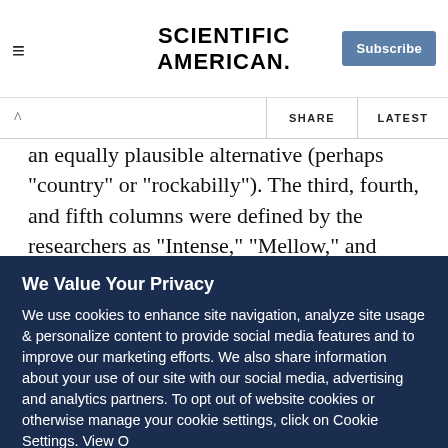Scientific American — Subscribe
an equally plausible alternative (perhaps "country" or "rockabilly"). The third, fourth, and fifth columns were defined by the researchers as "Intense," "Mellow," and "Contemporary," respectively.
Now that we’ve seen the statistics, what does this look like graphically?
We Value Your Privacy
We use cookies to enhance site navigation, analyze site usage & personalize content to provide social media features and to improve our marketing efforts. We also share information about your use of our site with our social media, advertising and analytics partners. To opt out of website cookies or otherwise manage your cookie settings, click on Cookie Settings. View O